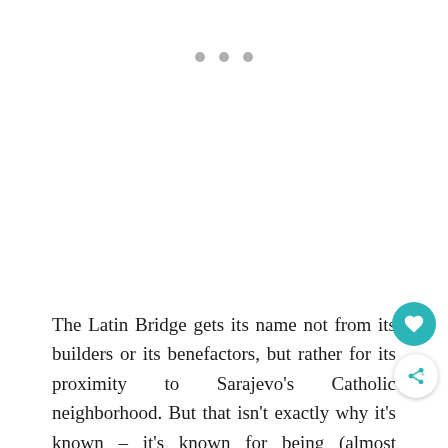[Figure (other): Three grey dots (pagination indicator) centered near the top of the page]
The Latin Bridge gets its name not from its builders or its benefactors, but rather for its proximity to Sarajevo's Catholic neighborhood. But that isn't exactly why it's known – it's known for being (almost exactly) the site of the Sarajevo Assassination, which would later lead to